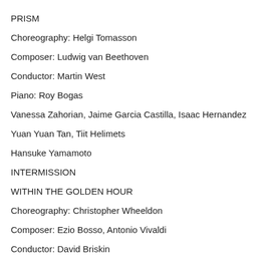PRISM
Choreography: Helgi Tomasson
Composer: Ludwig van Beethoven
Conductor: Martin West
Piano: Roy Bogas
Vanessa Zahorian, Jaime Garcia Castilla, Isaac Hernandez
Yuan Yuan Tan, Tiit Helimets
Hansuke Yamamoto
INTERMISSION
WITHIN THE GOLDEN HOUR
Choreography: Christopher Wheeldon
Composer: Ezio Bosso, Antonio Vivaldi
Conductor: David Briskin